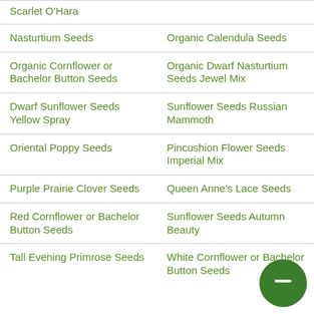| Scarlet O'Hara |  |
| Nasturtium Seeds | Organic Calendula Seeds |
| Organic Cornflower or Bachelor Button Seeds | Organic Dwarf Nasturtium Seeds Jewel Mix |
| Dwarf Sunflower Seeds Yellow Spray | Sunflower Seeds Russian Mammoth |
| Oriental Poppy Seeds | Pincushion Flower Seeds Imperial Mix |
| Purple Prairie Clover Seeds | Queen Anne's Lace Seeds |
| Red Cornflower or Bachelor Button Seeds | Sunflower Seeds Autumn Beauty |
| Tall Evening Primrose Seeds | White Cornflower or Bachelor Button Seeds |